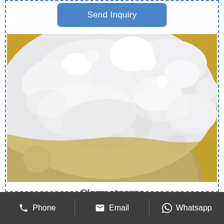Send Inquiry
[Figure (photo): Close-up photograph of white powder in a glass bowl on a golden/yellow surface]
Clear stamps
Did you scroll all this way to get facts about clear stamps? Well you're in
Phone   Email   Whatsapp